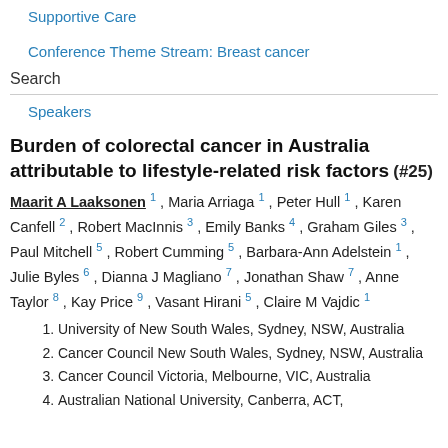Supportive Care
Conference Theme Stream: Breast cancer
Search
Speakers
Burden of colorectal cancer in Australia attributable to lifestyle-related risk factors (#25)
Maarit A Laaksonen 1 , Maria Arriaga 1 , Peter Hull 1 , Karen Canfell 2 , Robert MacInnis 3 , Emily Banks 4 , Graham Giles 3 , Paul Mitchell 5 , Robert Cumming 5 , Barbara-Ann Adelstein 1 , Julie Byles 6 , Dianna J Magliano 7 , Jonathan Shaw 7 , Anne Taylor 8 , Kay Price 9 , Vasant Hirani 5 , Claire M Vajdic 1
University of New South Wales, Sydney, NSW, Australia
Cancer Council New South Wales, Sydney, NSW, Australia
Cancer Council Victoria, Melbourne, VIC, Australia
Australian National University, Canberra, ACT,